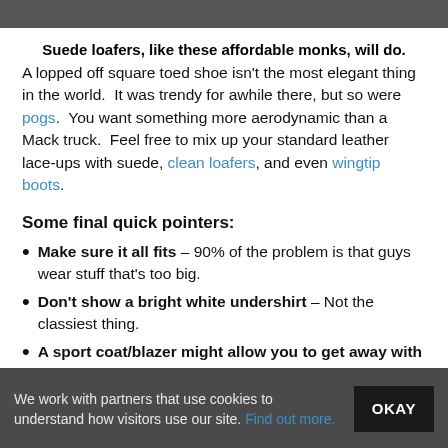[Figure (photo): Image bar at top of page (partial image shown)]
Suede loafers, like these affordable monks, will do.
A lopped off square toed shoe isn't the most elegant thing in the world. It was trendy for awhile there, but so were pogs. You want something more aerodynamic than a Mack truck. Feel free to mix up your standard leather lace-ups with suede, clean loafers, and even wingtip boots.
Some final quick pointers:
Make sure it all fits – 90% of the problem is that guys wear stuff that's too big.
Don't show a bright white undershirt – Not the classiest thing.
A sport coat/blazer might allow you to get away with jeans – Check first. Keep the denim solid &
We work with partners that use cookies to understand how visitors use our site. Find out more.